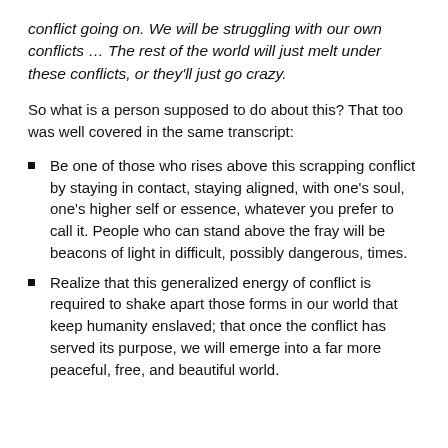conflict going on. We will be struggling with our own conflicts … The rest of the world will just melt under these conflicts, or they'll just go crazy.
So what is a person supposed to do about this? That too was well covered in the same transcript:
Be one of those who rises above this scrapping conflict by staying in contact, staying aligned, with one's soul, one's higher self or essence, whatever you prefer to call it. People who can stand above the fray will be beacons of light in difficult, possibly dangerous, times.
Realize that this generalized energy of conflict is required to shake apart those forms in our world that keep humanity enslaved; that once the conflict has served its purpose, we will emerge into a far more peaceful, free, and beautiful world.